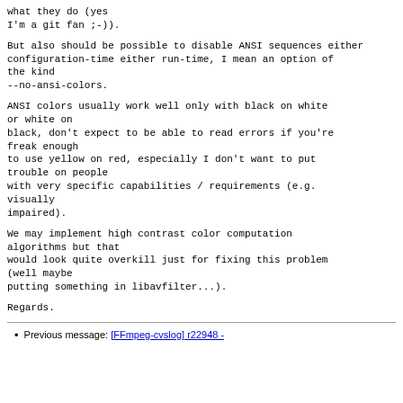what they do (yes
I'm a git fan ;-)).
But also should be possible to disable ANSI sequences either
configuration-time either run-time, I mean an option of the kind
--no-ansi-colors.
ANSI colors usually work well only with black on white or white on
black, don't expect to be able to read errors if you're freak enough
to use yellow on red, especially I don't want to put trouble on people
with very specific capabilities / requirements (e.g. visually
impaired).
We may implement high contrast color computation algorithms but that
would look quite overkill just for fixing this problem (well maybe
putting something in libavfilter...).
Regards.
Previous message: [FFmpeg-cvslog] r22948 -